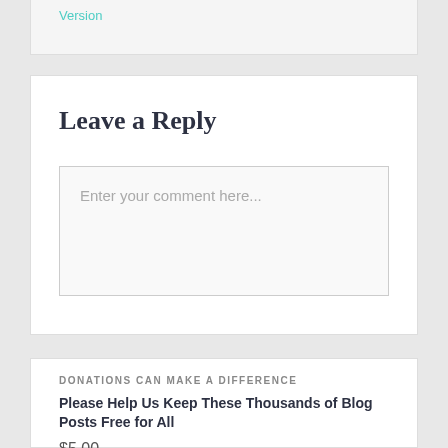Version
Leave a Reply
Enter your comment here...
DONATIONS CAN MAKE A DIFFERENCE
Please Help Us Keep These Thousands of Blog Posts Free for All
$5.00